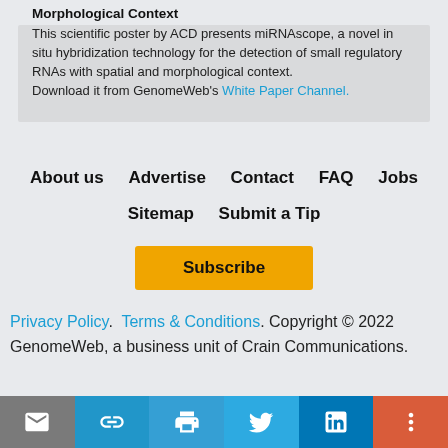Morphological Context
This scientific poster by ACD presents miRNAscope, a novel in situ hybridization technology for the detection of small regulatory RNAs with spatial and morphological context.
Download it from GenomeWeb's White Paper Channel.
About us   Advertise   Contact   FAQ   Jobs   Sitemap   Submit a Tip
Subscribe
Privacy Policy.  Terms & Conditions. Copyright © 2022 GenomeWeb, a business unit of Crain Communications.